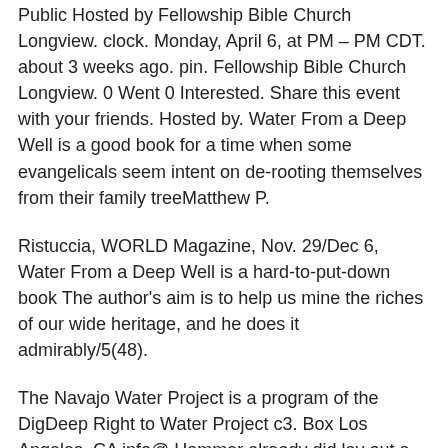Public Hosted by Fellowship Bible Church Longview. clock. Monday, April 6, at PM – PM CDT. about 3 weeks ago. pin. Fellowship Bible Church Longview. 0 Went 0 Interested. Share this event with your friends. Hosted by. Water From a Deep Well is a good book for a time when some evangelicals seem intent on de-rooting themselves from their family treeMatthew P.
Ristuccia, WORLD Magazine, Nov. 29/Dec 6, Water From a Deep Well is a hard-to-put-down book The author's aim is to help us mine the riches of our wide heritage, and he does it admirably/5(48).
The Navajo Water Project is a program of the DigDeep Right to Water Project c3. Box Los Angeles, CA info@ Hammer already did lay out a white boy — the deep down mean Charlie Simms — and this is Mississippi in Adding fuel to the tinderbox, there is a drought and only one well in the community still has water.
That well is on the Logan's land, and black and white alike